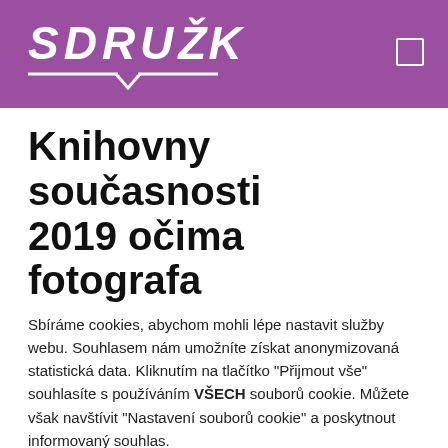SDRUŽENÍ
Knihovny současnosti 2019 očima fotografa
Sbíráme cookies, abychom mohli lépe nastavit služby webu. Souhlasem nám umožníte získat anonymizovaná statistická data. Kliknutím na tlačítko "Přijmout vše" souhlasíte s používáním VŠECH souborů cookie. Můžete však navštívit "Nastavení souborů cookie" a poskytnout informovaný souhlas.
Přijmout vše
Odmítnout vše
Nastavení cookie
Číst více